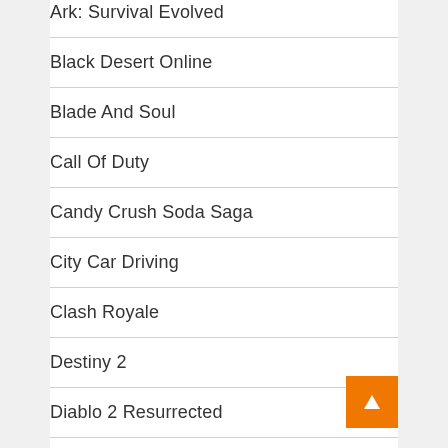Ark: Survival Evolved
Black Desert Online
Blade And Soul
Call Of Duty
Candy Crush Soda Saga
City Car Driving
Clash Royale
Destiny 2
Diablo 2 Resurrected
Diablo Immortal
Dragon Ball Legends
Dragon Ball Z Dokkan Battle